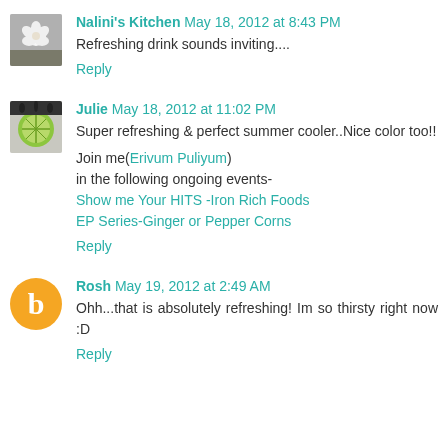Nalini's Kitchen May 18, 2012 at 8:43 PM
Refreshing drink sounds inviting....
Reply
[Figure (photo): Avatar thumbnail of a white flower]
Julie May 18, 2012 at 11:02 PM
Super refreshing & perfect summer cooler..Nice color too!!
Join me(Erivum Puliyum)
in the following ongoing events-
Show me Your HITS -Iron Rich Foods
EP Series-Ginger or Pepper Corns
Reply
[Figure (photo): Avatar thumbnail showing a lime half]
Rosh May 19, 2012 at 2:49 AM
Ohh...that is absolutely refreshing! Im so thirsty right now :D
Reply
[Figure (logo): Orange Blogger avatar circle with letter B]